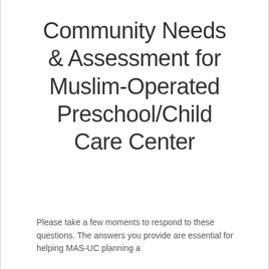Community Needs & Assessment for Muslim-Operated Preschool/Child Care Center
Please take a few moments to respond to these questions. The answers you provide are essential for helping MAS-UC planning a